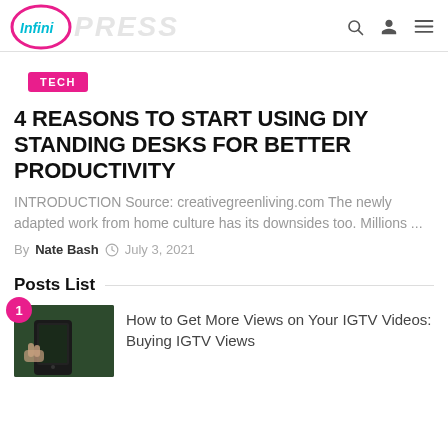InfiniPRESS
TECH
4 REASONS TO START USING DIY STANDING DESKS FOR BETTER PRODUCTIVITY
INTRODUCTION Source: creativegreenliving.com The newly adapted work from home culture has its downsides too. Millions ...
By Nate Bash  July 3, 2021
Posts List
How to Get More Views on Your IGTV Videos: Buying IGTV Views